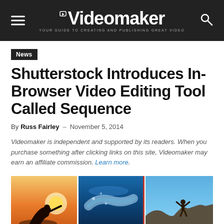Videomaker — YOUR GUIDE TO CREATING AND PUBLISHING GREAT VIDEO
News
Shutterstock Introduces In-Browser Video Editing Tool Called Sequence
By Russ Fairley - November 5, 2014
Videomaker is independent and supported by its readers. When you purchase something after clicking links on this site, Videomaker may earn an affiliate commission. Learn more.
[Figure (screenshot): Three-panel image strip showing: left panel - silhouette of surfer against warm sunset sky; center panel - underwater swimmer with a red vertical divider line on the right edge; right panel - person with arms raised on a rocky cliff against blue sky.]